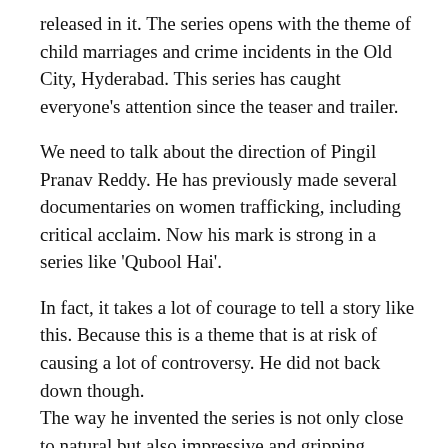released in it. The series opens with the theme of child marriages and crime incidents in the Old City, Hyderabad. This series has caught everyone's attention since the teaser and trailer.
We need to talk about the direction of Pingil Pranav Reddy. He has previously made several documentaries on women trafficking, including critical acclaim. Now his mark is strong in a series like 'Qubool Hai'.
In fact, it takes a lot of courage to tell a story like this. Because this is a theme that is at risk of causing a lot of controversy. He did not back down though. The way he invented the series is not only close to natural but also impressive and gripping. Karthik Parmar's cinematography is also super. Jerry Sylvester Vincent.. The background music is also perfect to arouse curiosity.